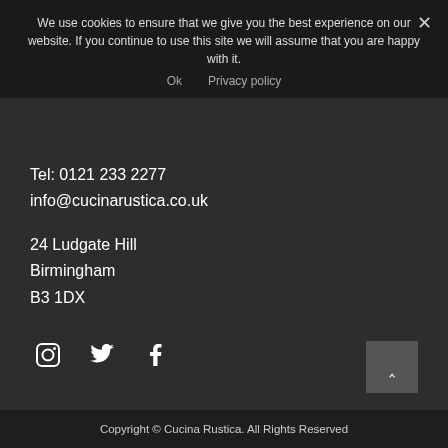We use cookies to ensure that we give you the best experience on our website. If you continue to use this site we will assume that you are happy with it.
Ok   Privacy policy
Tel: 0121 233 2277
info@cucinarustica.co.uk
24 Ludgate Hill
Birmingham
B3 1DX
[Figure (other): Social media icons: Instagram, Twitter, Facebook]
Copyright © Cucina Rustica. All Rights Reserved